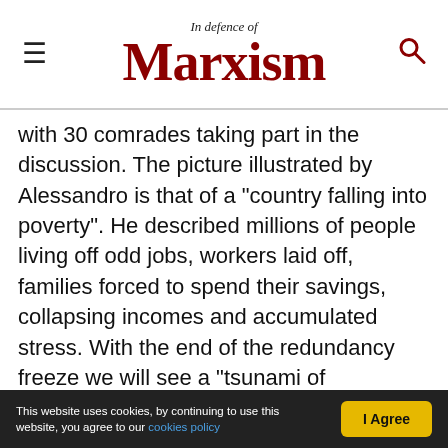In Defence of Marxism
with 30 comrades taking part in the discussion. The picture illustrated by Alessandro is that of a "country falling into poverty". He described millions of people living off odd jobs, workers laid off, families forced to spend their savings, collapsing incomes and accumulated stress. With the end of the redundancy freeze we will see a "tsunami of unemployment". Meanwhile, the Italian bourgeoisie reveals its parasitic character, asking for everything and more (loans, guarantees, non-repayable investments) and responding to the crisis with a further centralisation of industrial and
This website uses cookies, by continuing to use this website, you agree to our cookies policy  I Agree